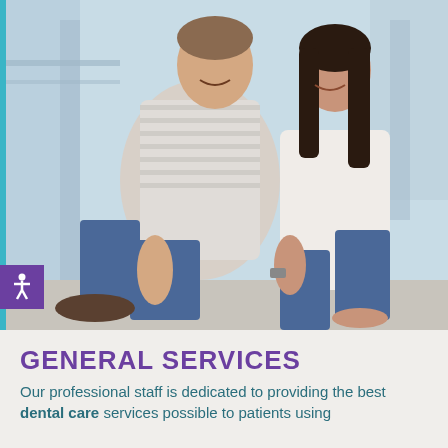[Figure (photo): A smiling couple sitting on the ground outdoors, leaning their heads together affectionately. The man wears a striped long-sleeve shirt and jeans; the woman wears a white top and jeans. Background shows a light blue/grey architectural setting.]
GENERAL SERVICES
Our professional staff is dedicated to providing the best dental care services possible to patients using